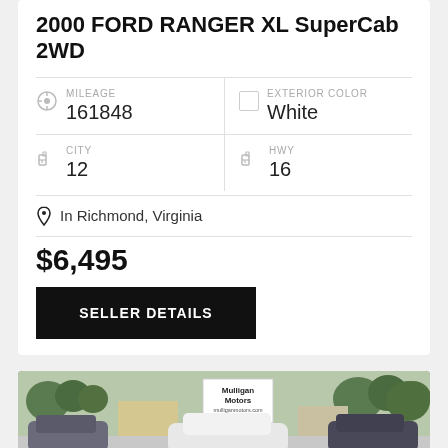2000 FORD RANGER XL SuperCab 2WD
MILEAGE 161848
EXTERIOR COLOR White
CITY 12
HWY 16
In Richmond, Virginia
$6,495
SELLER DETAILS
[Figure (photo): Exterior photo of car lot with Mulligan Motors sign and multiple vehicles including a white car in foreground]